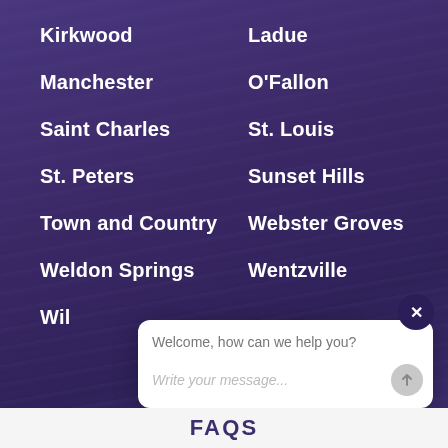Kirkwood
Ladue
Manchester
O'Fallon
Saint Charles
St. Louis
St. Peters
Sunset Hills
Town and Country
Webster Groves
Weldon Springs
Wentzville
Wil[dwood]
[Figure (screenshot): Chat popup overlay with 'Welcome, how can we help you?' message and 'Write your message...' input field with send button]
FAQS